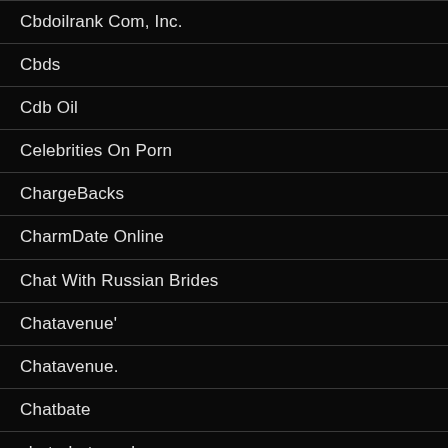Cbdoilrank Com, Inc.
Cbds
Cdb Oil
Celebrities On Porn
ChargeBacks
CharmDate Online
Chat With Russian Brides
Chatavenue'
Chatavenue.
Chatbate
chaturbate male
Chaturbates